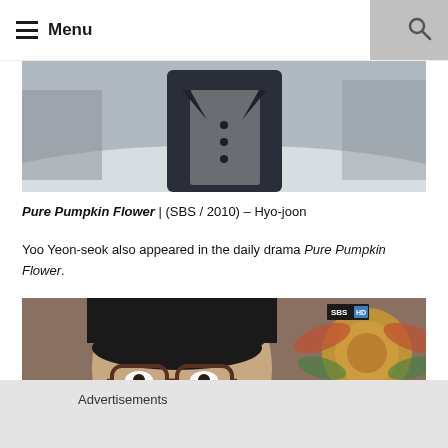Menu
[Figure (photo): Cropped photo of a person in a dark coat standing outdoors in a snowy setting]
Pure Pumpkin Flower | (SBS / 2010) – Hyo-joon
Yoo Yeon-seok also appeared in the daily drama Pure Pumpkin Flower.
[Figure (photo): Close-up photo of a young man with glasses and short dark hair, with an SBS HD watermark and decorative background; a close button (X) is visible in the bottom right]
Advertisements